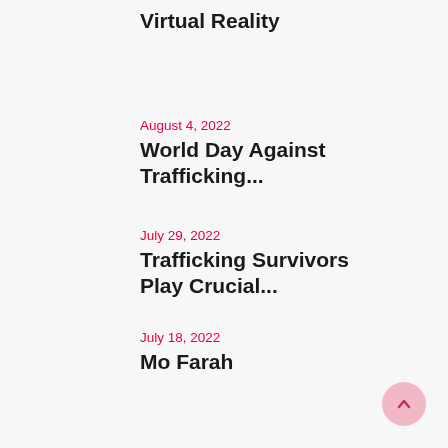Virtual Reality
August 4, 2022
World Day Against Trafficking...
July 29, 2022
Trafficking Survivors Play Crucial...
July 18, 2022
Mo Farah
June 28, 2022
Trafficking Misconceptions
May 27, 2022